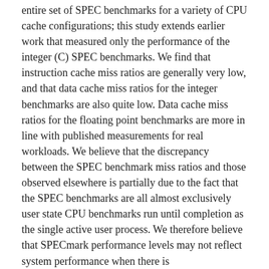entire set of SPEC benchmarks for a variety of CPU cache configurations; this study extends earlier work that measured only the performance of the integer (C) SPEC benchmarks. We find that instruction cache miss ratios are generally very low, and that data cache miss ratios for the integer benchmarks are also quite low. Data cache miss ratios for the floating point benchmarks are more in line with published measurements for real workloads. We believe that the discrepancy between the SPEC benchmark miss ratios and those observed elsewhere is partially due to the fact that the SPEC benchmarks are all almost exclusively user state CPU benchmarks run until completion as the single active user process. We therefore believe that SPECmark performance levels may not reflect system performance when there is multiprogramming, time sharing and/or significant operating systems activity.
BibTeX citation: